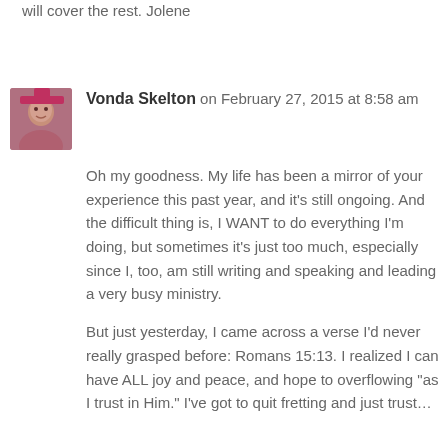will cover the rest. Jolene
Vonda Skelton on February 27, 2015 at 8:58 am
Oh my goodness. My life has been a mirror of your experience this past year, and it’s still ongoing. And the difficult thing is, I WANT to do everything I’m doing, but sometimes it’s just too much, especially since I, too, am still writing and speaking and leading a very busy ministry.
But just yesterday, I came across a verse I’d never really grasped before: Romans 15:13. I realized I can have ALL joy and peace, and hope to overflowing “as I trust in Him.” I’ve got to quit fretting and just trust…